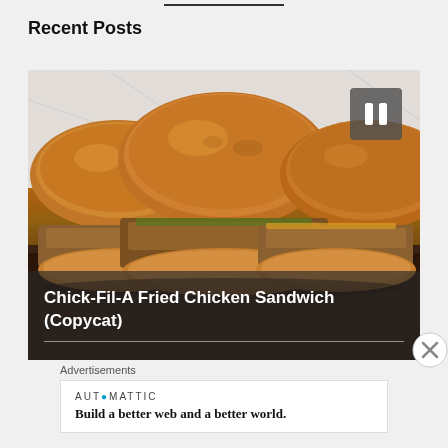Recent Posts
[Figure (photo): Three fried chicken sandwiches on brioche buns arranged on a dark wooden surface against a marble background, with a pause button overlay in the top right corner. Caption overlay reads 'Chick-Fil-A Fried Chicken Sandwich (Copycat)']
Chick-Fil-A Fried Chicken Sandwich (Copycat)
Advertisements
AUTOMATTIC
Build a better web and a better world.